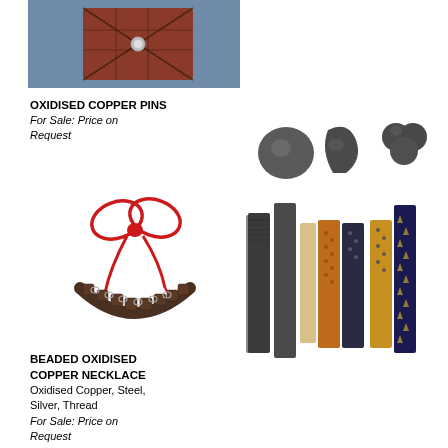[Figure (photo): Close-up photo of oxidised copper decorative box/pin with geometric patterned fabric in background]
OXIDISED COPPER PINS
For Sale: Price on Request
[Figure (photo): Beaded oxidised copper necklace tied with red ribbon bow]
[Figure (photo): Oxidised copper pins in various shapes (round, teardrop, flower) and fabric sample strips in different patterns and colors]
BEADED OXIDISED COPPER NECKLACE
Oxidised Copper, Steel, Silver, Thread
For Sale: Price on Request